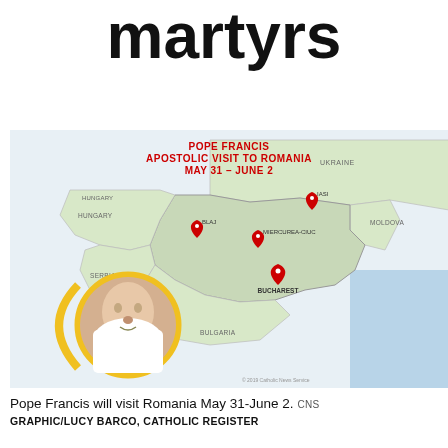martyrs
[Figure (map): Map showing Pope Francis Apostolic Visit to Romania, May 31 – June 2. Map highlights Romania with surrounding countries (Hungary, Serbia, Bulgaria, Moldova, Ukraine). Red location pins mark cities: Iasi, Blaj, Miercurea-Ciuc, Bucharest. A circular photo of Pope Francis waving is inset at lower left of the map.]
Pope Francis will visit Romania May 31-June 2. CNS
GRAPHIC/LUCY BARCO, CATHOLIC REGISTER